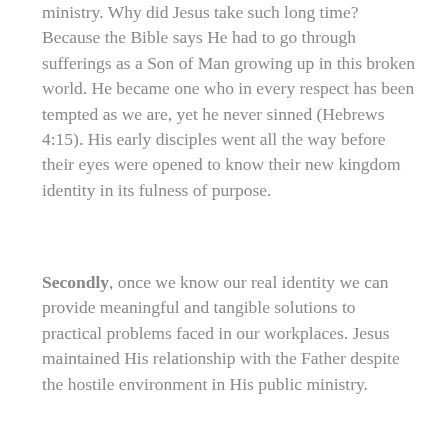ministry. Why did Jesus take such long time? Because the Bible says He had to go through sufferings as a Son of Man growing up in this broken world. He became one who in every respect has been tempted as we are, yet he never sinned (Hebrews 4:15). His early disciples went all the way before their eyes were opened to know their new kingdom identity in its fulness of purpose.
Secondly, once we know our real identity we can provide meaningful and tangible solutions to practical problems faced in our workplaces. Jesus maintained His relationship with the Father despite the hostile environment in His public ministry.